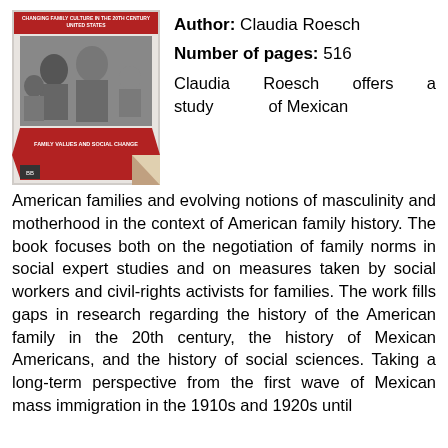[Figure (photo): Book cover showing a black and white family photo with a red design element and text 'CHANGING FAMILY CULTURE IN THE 20TH CENTURY UNITED STATES' and 'FAMILY VALUES AND SOCIAL CHANGE']
Author: Claudia Roesch
Number of pages: 516
Claudia Roesch offers a study of Mexican American families and evolving notions of masculinity and motherhood in the context of American family history. The book focuses both on the negotiation of family norms in social expert studies and on measures taken by social workers and civil-rights activists for families. The work fills gaps in research regarding the history of the American family in the 20th century, the history of Mexican Americans, and the history of social sciences. Taking a long-term perspective from the first wave of Mexican mass immigration in the 1910s and 1920s until